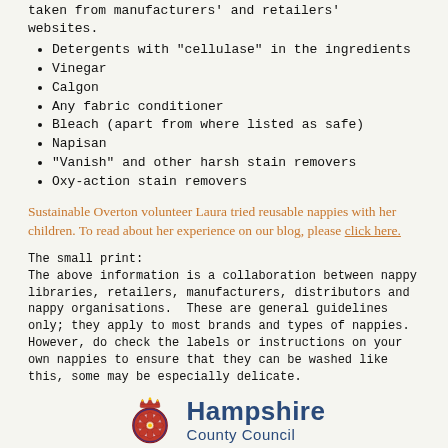taken from manufacturers' and retailers' websites.
Detergents with "cellulase" in the ingredients
Vinegar
Calgon
Any fabric conditioner
Bleach (apart from where listed as safe)
Napisan
"Vanish" and other harsh stain removers
Oxy-action stain removers
Sustainable Overton volunteer Laura tried reusable nappies with her children. To read about her experience on our blog, please click here.
The small print:
The above information is a collaboration between nappy libraries, retailers, manufacturers, distributors and nappy organisations.  These are general guidelines only; they apply to most brands and types of nappies.  However, do check the labels or instructions on your own nappies to ensure that they can be washed like this, some may be especially delicate.
[Figure (logo): Hampshire County Council logo with crown and rose emblem]